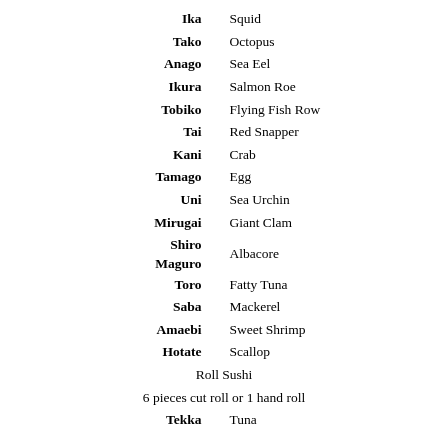| Ika | Squid |
| Tako | Octopus |
| Anago | Sea Eel |
| Ikura | Salmon Roe |
| Tobiko | Flying Fish Row |
| Tai | Red Snapper |
| Kani | Crab |
| Tamago | Egg |
| Uni | Sea Urchin |
| Mirugai | Giant Clam |
| Shiro Maguro | Albacore |
| Toro | Fatty Tuna |
| Saba | Mackerel |
| Amaebi | Sweet Shrimp |
| Hotate | Scallop |
|  | Roll Sushi |
|  | 6 pieces cut roll or 1 hand roll |
| Tekka | Tuna |